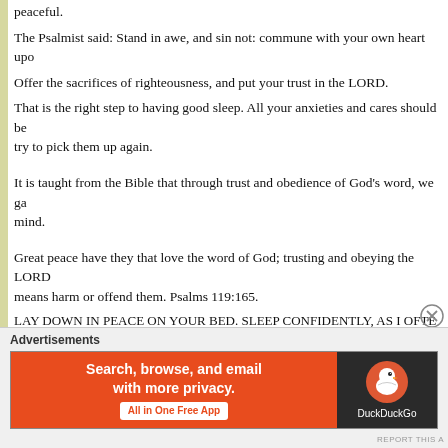peaceful.
The Psalmist said: Stand in awe, and sin not: commune with your own heart upon your bed, and be still.
Offer the sacrifices of righteousness, and put your trust in the LORD.
That is the right step to having good sleep. All your anxieties and cares should be laid upon God, don't try to pick them up again.
It is taught from the Bible that through trust and obedience of God's word, we gain a peaceful, tranquil mind.
Great peace have they that love the word of God; trusting and obeying the LORD nothing shall in any means harm or offend them. Psalms 119:165.
LAY DOWN IN PEACE ON YOUR BED. SLEEP CONFIDENTLY, AS I OFTEN SLEEP LIKE A BABY, BECAUSE GOD WATCHES OVER ME; AND YOU TOO.[Psalms 4:8] IF YOU HAVE A PROBLEM, CAST THAT PROBLEM UPON THE LORD.
In the mighty name of Jesus; I pray for you. Begin to get sleep tonight; even now while you pray to your Father, in Jesus name. Amen. Medication from the doctor can help you to go to sleep but will not give a lasting solution, because you become enslaved to the use of the medicine. However, medication may be a starting point.
[Figure (infographic): DuckDuckGo advertisement banner: orange left panel with text 'Search, browse, and email with more privacy. All in One Free App' and dark right panel with DuckDuckGo duck logo]